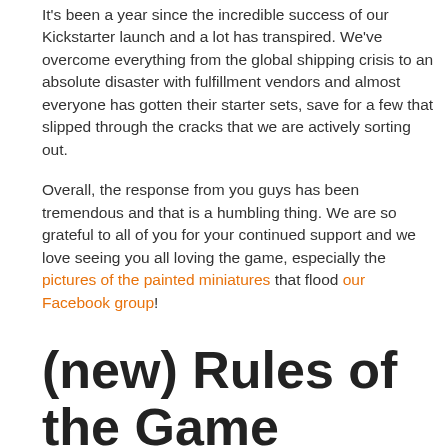It's been a year since the incredible success of our Kickstarter launch and a lot has transpired. We've overcome everything from the global shipping crisis to an absolute disaster with fulfillment vendors and almost everyone has gotten their starter sets, save for a few that slipped through the cracks that we are actively sorting out.
Overall, the response from you guys has been tremendous and that is a humbling thing. We are so grateful to all of you for your continued support and we love seeing you all loving the game, especially the pictures of the painted miniatures that flood our Facebook group!
(new) Rules of the Game
One of the biggest global complaints/criticisms/critiques to come out of all of